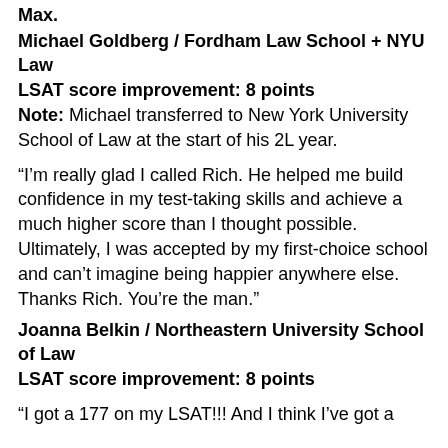Max.
Michael Goldberg / Fordham Law School + NYU Law
LSAT score improvement: 8 points
Note: Michael transferred to New York University School of Law at the start of his 2L year.
“I’m really glad I called Rich. He helped me build confidence in my test-taking skills and achieve a much higher score than I thought possible. Ultimately, I was accepted by my first-choice school and can’t imagine being happier anywhere else. Thanks Rich. You’re the man.”
Joanna Belkin / Northeastern University School of Law
LSAT score improvement: 8 points
“I got a 177 on my LSAT!!! And I think I’ve got a